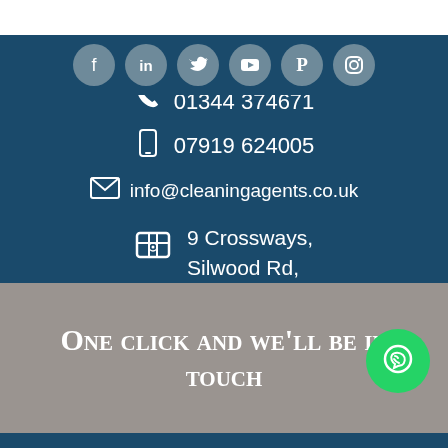[Figure (illustration): Row of social media icons (Facebook, LinkedIn, Twitter, YouTube, Pinterest, Instagram) as white icons on gray circular backgrounds]
Contact Details
01344 374671
07919 624005
info@cleaningagents.co.uk
9 Crossways, Silwood Rd, Ascot
One click and we'll be in touch
Get A Quote!